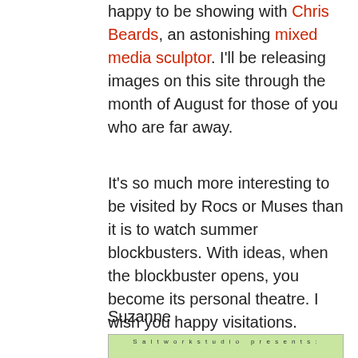happy to be showing with Chris Beards, an astonishing mixed media sculptor.  I'll be releasing images on this site through the month of August for those of you who are far away.
It's so much more interesting to be visited by Rocs or Muses than it is to watch summer blockbusters. With ideas, when the blockbuster opens,  you become its personal theatre.  I wish you happy visitations.
Suzanne
[Figure (illustration): Saltwork studio presents: promotional image with green background and partial colorful artwork/text visible at bottom]